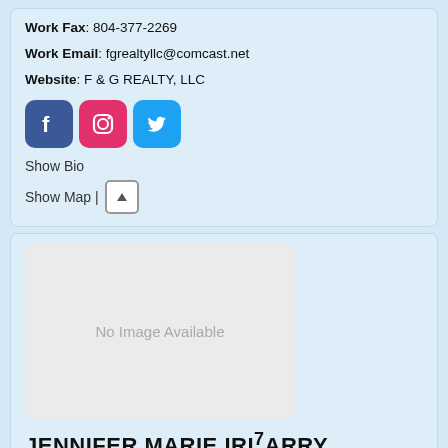Work Fax: 804-377-2269
Work Email: fgrealtyllc@comcast.net
Website: F & G REALTY, LLC
[Figure (illustration): Social media icons: Facebook (blue), Instagram (pink/red), Twitter (light blue)]
Show Bio
Show Map | [up arrow button]
[Figure (photo): No Image Available placeholder box]
JENNIFER MARIE IRIZARRY
Credit Consultant
Empire Financial Firm, LLC
Leave a message